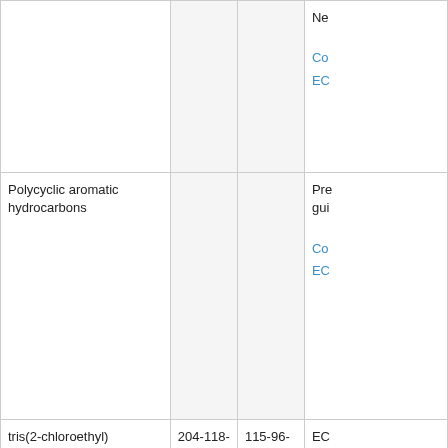|  |  |  | Ne

Co
EC |
| Polycyclic aromatic hydrocarbons |  |  | Pre
gui

Co
EC |
| tris(2-chloroethyl) phosphate (TCEP);

tris(2-chloro-1-methylethyl) phosphate (TCPP); | 204-118-5;
237-158-7; | 115-96-8;
13674-84-5; | EC
wh
TC
art
res
wit |